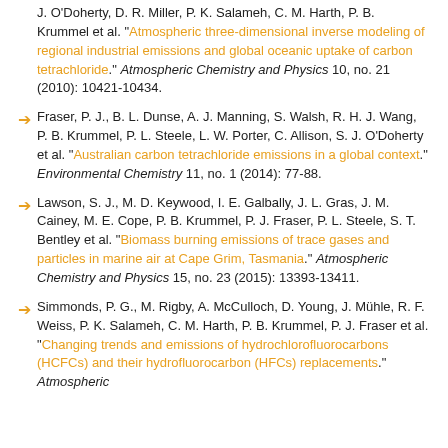J. O'Doherty, D. R. Miller, P. K. Salameh, C. M. Harth, P. B. Krummel et al. "Atmospheric three-dimensional inverse modeling of regional industrial emissions and global oceanic uptake of carbon tetrachloride." Atmospheric Chemistry and Physics 10, no. 21 (2010): 10421-10434.
Fraser, P. J., B. L. Dunse, A. J. Manning, S. Walsh, R. H. J. Wang, P. B. Krummel, P. L. Steele, L. W. Porter, C. Allison, S. J. O'Doherty et al. "Australian carbon tetrachloride emissions in a global context." Environmental Chemistry 11, no. 1 (2014): 77-88.
Lawson, S. J., M. D. Keywood, I. E. Galbally, J. L. Gras, J. M. Cainey, M. E. Cope, P. B. Krummel, P. J. Fraser, P. L. Steele, S. T. Bentley et al. "Biomass burning emissions of trace gases and particles in marine air at Cape Grim, Tasmania." Atmospheric Chemistry and Physics 15, no. 23 (2015): 13393-13411.
Simmonds, P. G., M. Rigby, A. McCulloch, D. Young, J. Mühle, R. F. Weiss, P. K. Salameh, C. M. Harth, P. B. Krummel, P. J. Fraser et al. "Changing trends and emissions of hydrochlorofluorocarbons (HCFCs) and their hydrofluorocarbon (HFCs) replacements." Atmospheric